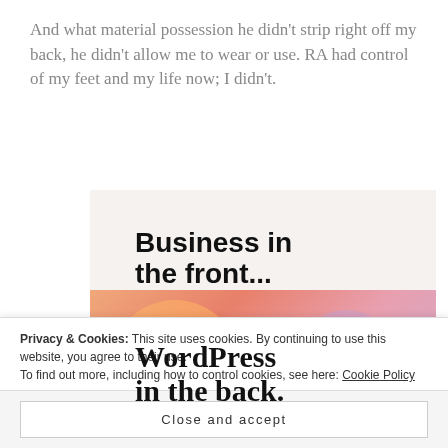And what material possession he didn't strip right off my back, he didn't allow me to wear or use. RA had control of my feet and my life now; I didn't.
[Figure (screenshot): Screenshot of a WordPress advertisement showing 'Business in the front...' text at top and 'WordPress in the back.' text on a colorful peach/pink/lavender gradient background below.]
Privacy & Cookies: This site uses cookies. By continuing to use this website, you agree to their use.
To find out more, including how to control cookies, see here: Cookie Policy
Close and accept